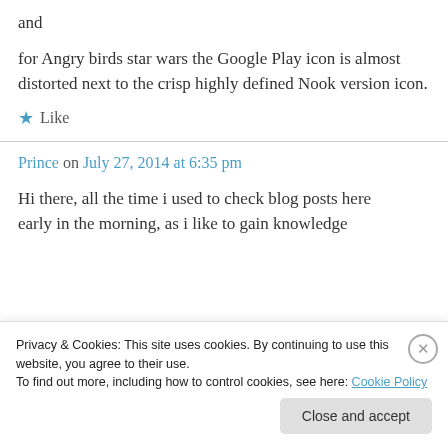and
for Angry birds star wars the Google Play icon is almost distorted next to the crisp highly defined Nook version icon.
★ Like
Prince on July 27, 2014 at 6:35 pm
Hi there, all the time i used to check blog posts here
early in the morning, as i like to gain knowledge
Privacy & Cookies: This site uses cookies. By continuing to use this website, you agree to their use.
To find out more, including how to control cookies, see here: Cookie Policy
Close and accept